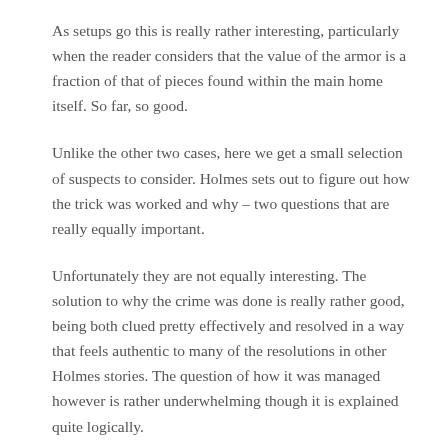As setups go this is really rather interesting, particularly when the reader considers that the value of the armor is a fraction of that of pieces found within the main home itself. So far, so good.
Unlike the other two cases, here we get a small selection of suspects to consider. Holmes sets out to figure out how the trick was worked and why – two questions that are really equally important.
Unfortunately they are not equally interesting. The solution to why the crime was done is really rather good, being both clued pretty effectively and resolved in a way that feels authentic to many of the resolutions in other Holmes stories. The question of how it was managed however is rather underwhelming though it is explained quite logically.